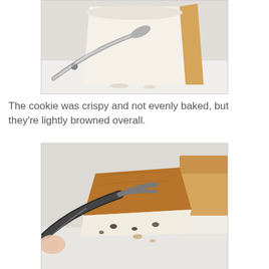[Figure (photo): Close-up photo of a slice of light-colored baked good (appears to be angel food cake or similar) being lifted by a metal spatula/server. The cake is white/pale with a golden crust on the right side, on a white background.]
The cookie was crispy and not evenly baked, but they're lightly browned overall.
[Figure (photo): Close-up photo of a browned baked good (cookie or cake slice) being held by a dark metal spatula/tongs by a hand. The underside shows a golden-brown color, and there is another piece of baked good visible on the right side. White filling or cream is visible beneath the browned top.]